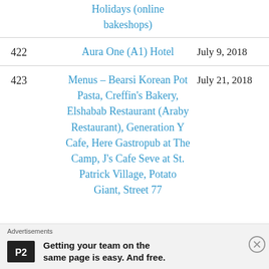| # | Name | Date |
| --- | --- | --- |
|  | Holidays (online bakeshops) |  |
| 422 | Aura One (A1) Hotel | July 9, 2018 |
| 423 | Menus – Bearsi Korean Pot Pasta, Creffin's Bakery, Elshabab Restaurant (Araby Restaurant), Generation Y Cafe, Here Gastropub at The Camp, J's Cafe Seve at St. Patrick Village, Potato Giant, Street 77 | July 21, 2018 |
Advertisements
Getting your team on the same page is easy. And free.